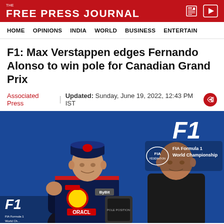FREE PRESS JOURNAL
HOME | OPINIONS | INDIA | WORLD | BUSINESS | ENTERTAIN
F1: Max Verstappen edges Fernando Alonso to win pole for Canadian Grand Prix
Associated Press | Updated: Sunday, June 19, 2022, 12:43 PM IST
[Figure (photo): Two men posing together in front of an FIA Formula 1 World Championship backdrop. The man on the left is wearing a Red Bull Racing suit with Oracle, Mobil, ByBit and Rauch sponsorships, and is giving a thumbs up while holding an award. The man on the right is bald, wearing a dark jacket. The F1 logo is visible on the left side.]